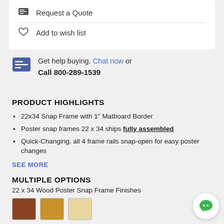Request a Quote
Add to wish list
Get help buying. Chat now or Call 800-289-1539
PRODUCT HIGHLIGHTS
22x34 Snap Frame with 1" Matboard Border
Poster snap frames 22 x 34 ships fully assembled
Quick-Changing, all 4 frame rails snap-open for easy poster changes
SEE MORE
MULTIPLE OPTIONS
22 x 34 Wood Poster Snap Frame Finishes
[Figure (other): Three wood finish color swatches: dark brown, medium oak, light tan]
22 x 34 Poster Snap Frame Matboard Colors
[Figure (other): Six matboard color swatches: black, gray, red, olive/dark green, mauve, orange]